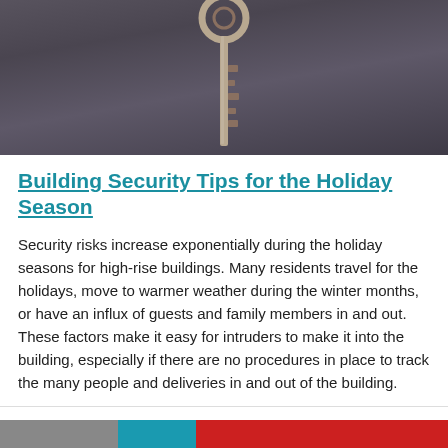[Figure (photo): Close-up photo of a key (likely a house or building key) against a dark gray/purple background. The key is oriented vertically with the tip pointing down.]
Building Security Tips for the Holiday Season
Security risks increase exponentially during the holiday seasons for high-rise buildings. Many residents travel for the holidays, move to warmer weather during the winter months, or have an influx of guests and family members in and out. These factors make it easy for intruders to make it into the building, especially if there are no procedures in place to track the many people and deliveries in and out of the building.